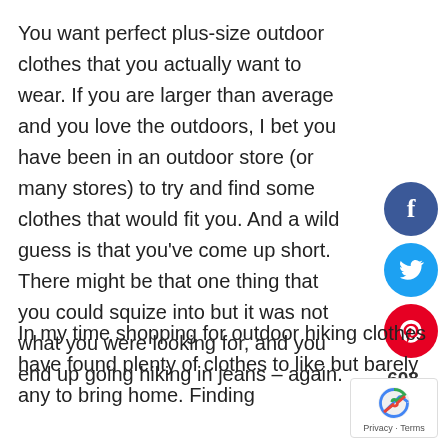You want perfect plus-size outdoor clothes that you actually want to wear. If you are larger than average and you love the outdoors, I bet you have been in an outdoor store (or many stores) to try and find some clothes that would fit you. And a wild guess is that you've come up short. There might be that one thing that you could squize into but it was not what you were looking for, and you end up going hiking in jeans – again.
In my time shopping for outdoor hiking clothes have found plenty of clothes to like but barely any to bring home. Finding